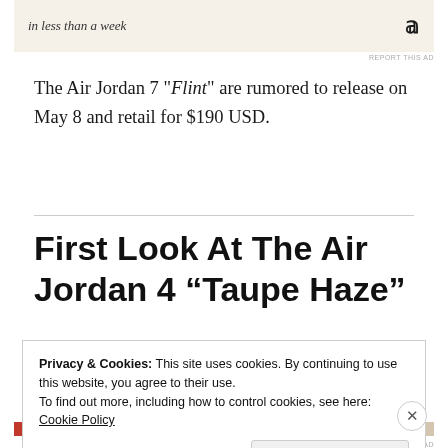[Figure (other): Advertisement banner with italic text 'in less than a week' and WordPress logo]
The Air Jordan 7 "Flint" are rumored to release on May 8 and retail for $190 USD.
First Look At The Air Jordan 4 “Taupe Haze”
DECEMBER 21, 2020 / LEAVE A COMMENT
Privacy & Cookies: This site uses cookies. By continuing to use this website, you agree to their use.
To find out more, including how to control cookies, see here: Cookie Policy
Close and accept